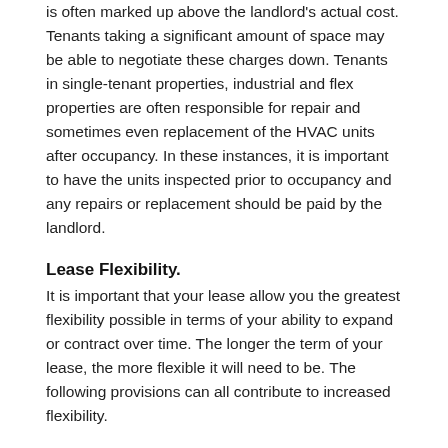is often marked up above the landlord's actual cost. Tenants taking a significant amount of space may be able to negotiate these charges down. Tenants in single-tenant properties, industrial and flex properties are often responsible for repair and sometimes even replacement of the HVAC units after occupancy. In these instances, it is important to have the units inspected prior to occupancy and any repairs or replacement should be paid by the landlord.
Lease Flexibility.
It is important that your lease allow you the greatest flexibility possible in terms of your ability to expand or contract over time. The longer the term of your lease, the more flexible it will need to be. The following provisions can all contribute to increased flexibility.
Lease Term.
Although it seems counter-intuitive, a longer-term